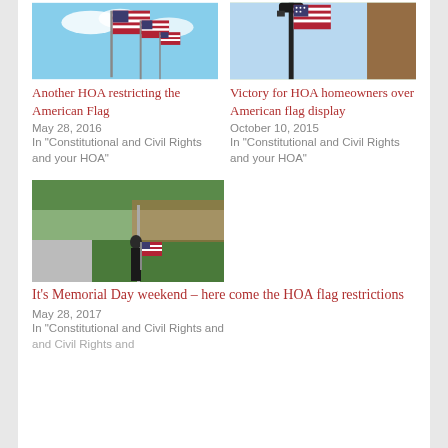[Figure (photo): American flags flying against a blue sky with clouds]
[Figure (photo): American flag displayed on a lamp post near trees]
Another HOA restricting the American Flag
Victory for HOA homeowners over American flag display
May 28, 2016
October 10, 2015
In "Constitutional and Civil Rights and your HOA"
In "Constitutional and Civil Rights and your HOA"
[Figure (photo): Person standing on a lawn holding a small American flag near a flagpole]
It's Memorial Day weekend – here come the HOA flag restrictions
May 28, 2017
In "Constitutional and Civil Rights and